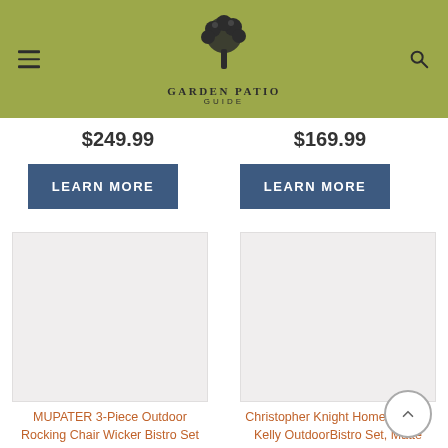Garden Patio Guide
$249.99
$169.99
LEARN MORE
LEARN MORE
[Figure (photo): Product image placeholder left]
[Figure (photo): Product image placeholder right]
MUPATER 3-Piece Outdoor Rocking Chair Wicker Bistro Set with Table and Cushions,
Christopher Knight Home 304956 Kelly OutdoorBistro Set, Matte Orange